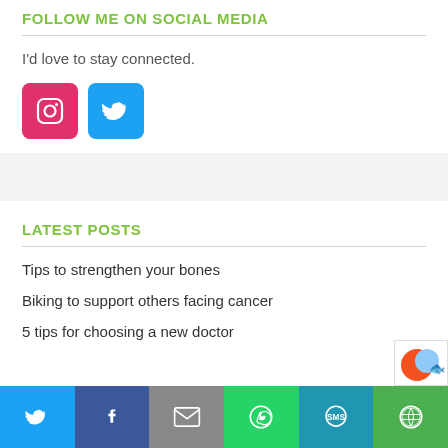FOLLOW ME ON SOCIAL MEDIA
I'd love to stay connected.
[Figure (other): Instagram icon (pink/red rounded square) and Twitter icon (blue rounded square)]
LATEST POSTS
Tips to strengthen your bones
Biking to support others facing cancer
5 tips for choosing a new doctor
[Figure (other): Bottom share bar with Twitter, Facebook, Email, WhatsApp, SMS, and More buttons]